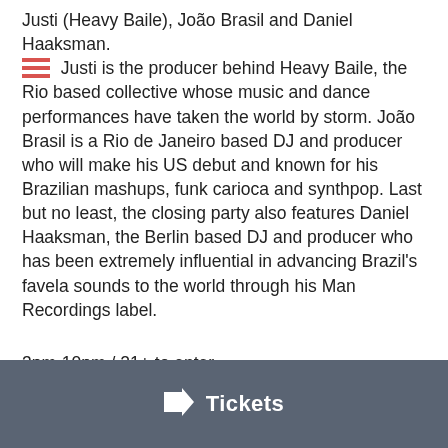Justi (Heavy Baile), João Brasil and Daniel Haaksman. [menu icon] Justi is the producer behind Heavy Baile, the Rio based collective whose music and dance performances have taken the world by storm. João Brasil is a Rio de Janeiro based DJ and producer who will make his US debut and known for his Brazilian mashups, funk carioca and synthpop. Last but no least, the closing party also features Daniel Haaksman, the Berlin based DJ and producer who has been extremely influential in advancing Brazil's favela sounds to the world through his Man Recordings label.
3pm-10pm / 21+ to enter
House of Yes - 2 Wyckoff Avenue, Brooklyn
Tickets
Tickets